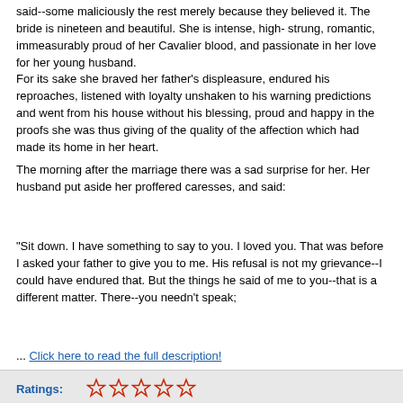said--some maliciously the rest merely because they believed it. The bride is nineteen and beautiful. She is intense, high-strung, romantic, immeasurably proud of her Cavalier blood, and passionate in her love for her young husband.
For its sake she braved her father's displeasure, endured his reproaches, listened with loyalty unshaken to his warning predictions and went from his house without his blessing, proud and happy in the proofs she was thus giving of the quality of the affection which had made its home in her heart.
The morning after the marriage there was a sad surprise for her. Her husband put aside her proffered caresses, and said:
"Sit down. I have something to say to you. I loved you. That was before I asked your father to give you to me. His refusal is not my grievance--I could have endured that. But the things he said of me to you--that is a different matter. There--you needn't speak;
... Click here to read the full description!
Add to Cart
Add to Wish List
Ratings: